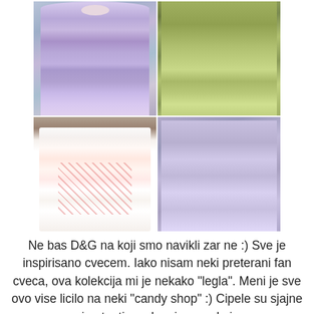[Figure (photo): A 2x2 grid of fashion runway photos showing four models wearing floral dresses: top-left a lavender/blue ruffled floral gown, top-right a yellow-green floral gown, bottom-left a white dress with large pink roses, bottom-right a lilac tiered ruffled floral dress. All are on a runway with garden/floral decor backdrop.]
Ne bas D&G na koji smo navikli zar ne :) Sve je inspirisano cvecem. Iako nisam neki preterani fan cveca, ova kolekcija mi je nekako "legla". Meni je sve ovo vise licilo na neki "candy shop" :) Cipele su sjajne i autenticne, kao i na svakoj